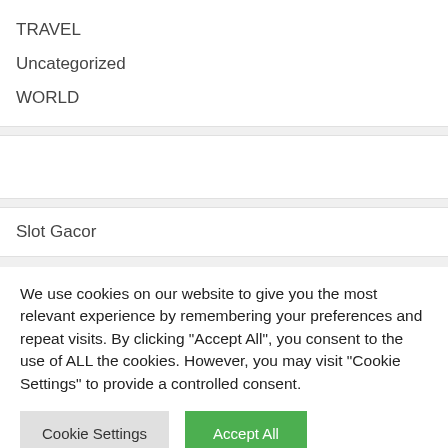TRAVEL
Uncategorized
WORLD
Slot Gacor
We use cookies on our website to give you the most relevant experience by remembering your preferences and repeat visits. By clicking "Accept All", you consent to the use of ALL the cookies. However, you may visit "Cookie Settings" to provide a controlled consent.
Cookie Settings
Accept All